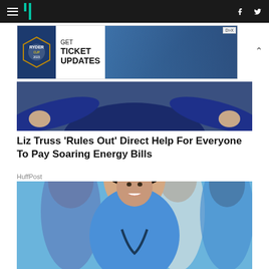HuffPost navigation with hamburger menu and logo, social icons (Facebook, Twitter)
[Figure (photo): Ryder Cup advertisement banner: GET TICKET UPDATES with golf imagery]
[Figure (photo): Hero image of person in dark blue jacket with arms out]
Liz Truss 'Rules Out' Direct Help For Everyone To Pay Soaring Energy Bills
HuffPost
[Figure (photo): Photo of medical professionals in blue scrubs smiling, nurse with stethoscope in foreground]